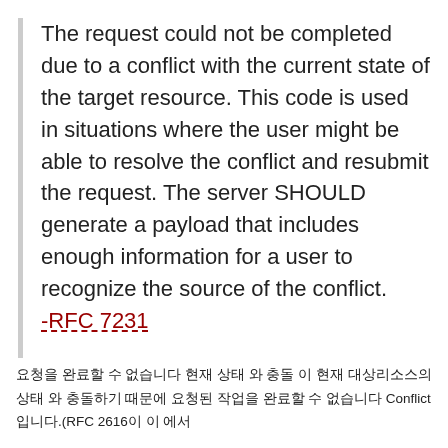The request could not be completed due to a conflict with the current state of the target resource. This code is used in situations where the user might be able to resolve the conflict and resubmit the request. The server SHOULD generate a payload that includes enough information for a user to recognize the source of the conflict. -RFC 7231
요청을 완료할 수 없습니다 현재 상태 와 충돌 이 현재 대상리소스의 상태 와 충돌하기 때문에 요청된 작업을 완료할 수 없습니다 Conflict입니다.(RFC 2616이 이 에서